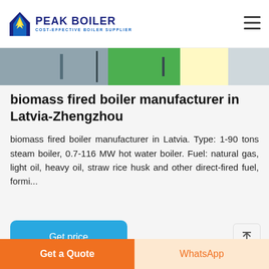PEAK BOILER — COST-EFFECTIVE BOILER SUPPLIER
[Figure (photo): Partial image of industrial boiler equipment, showing green and grey metal components]
biomass fired boiler manufacturer in Latvia-Zhengzhou
biomass fired boiler manufacturer in Latvia. Type: 1-90 tons steam boiler, 0.7-116 MW hot water boiler. Fuel: natural gas, light oil, heavy oil, straw rice husk and other direct-fired fuel, formi...
[Figure (photo): Partial image of industrial boiler with blue-grey metallic surfaces]
Get a Quote | WhatsApp